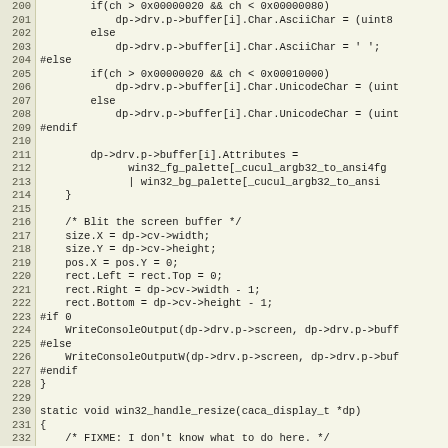[Figure (screenshot): Source code listing (C code) showing lines 200-232 of a win32 display driver implementation, with line numbers on the left and code on the right, on a light yellow/beige background.]